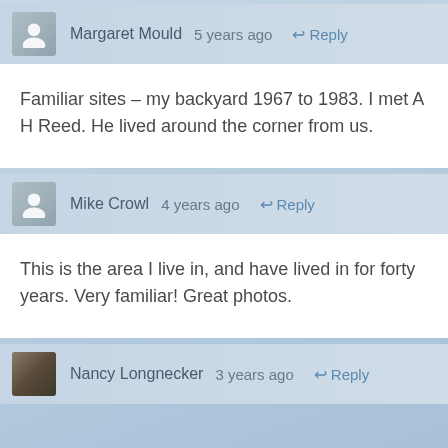Margaret Mould   5 years ago   ↩ Reply
Familiar sites – my backyard 1967 to 1983. I met A H Reed. He lived around the corner from us.
Mike Crowl   4 years ago   ↩ Reply
This is the area I live in, and have lived in for forty years. Very familiar! Great photos.
Nancy Longnecker   3 years ago   ↩ Reply